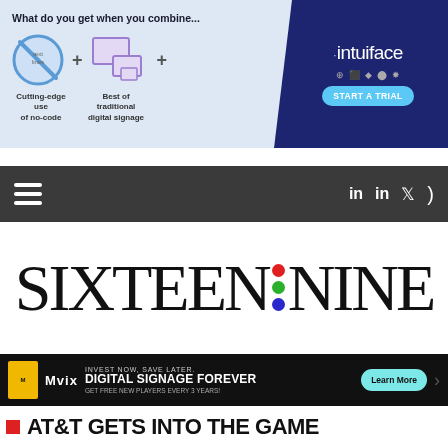[Figure (infographic): Intuiface advertisement banner: 'What do you get when you combine...' with no-code icon + screens icon + Intuiface logo panel with START A TRIAL button]
[Figure (screenshot): Dark navigation bar with hamburger menu on left and social icons (LinkedIn x2, Twitter, RSS) on right]
[Figure (logo): Sixteen:Nine publication logo with colored colon dots (red, green, blue)]
[Figure (infographic): Mvix digital signage advertisement: INVEST NOW, SAVE LATER. DIGITAL SIGNAGE FOREVER. GET FREE NEW PLAYERS EVERY 3 YEARS! Learn More button]
AT&T GETS INTO THE GAME